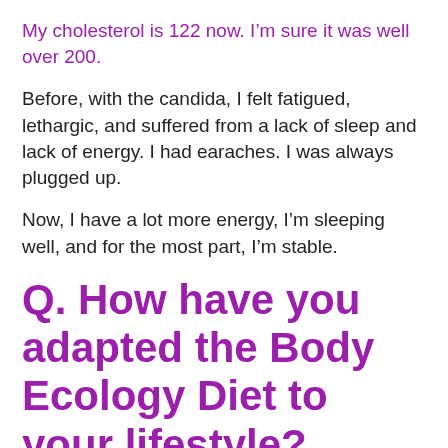My cholesterol is 122 now. I’m sure it was well over 200.
Before, with the candida, I felt fatigued, lethargic, and suffered from a lack of sleep and lack of energy. I had earaches. I was always plugged up.
Now, I have a lot more energy, I’m sleeping well, and for the most part, I’m stable.
Q. How have you adapted the Body Ecology Diet to your lifestyle?